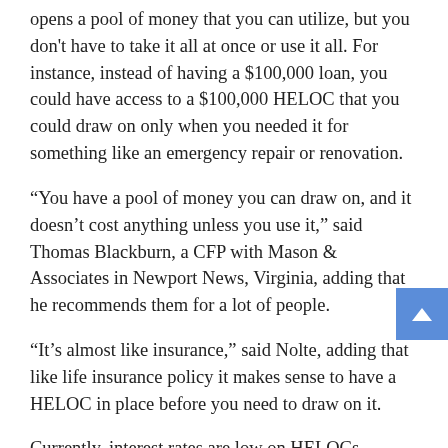opens a pool of money that you can utilize, but you don't have to take it all at once or use it all. For instance, instead of having a $100,000 loan, you could have access to a $100,000 HELOC that you could draw on only when you needed it for something like an emergency repair or renovation.
“You have a pool of money you can draw on, and it doesn’t cost anything unless you use it,” said Thomas Blackburn, a CFP with Mason & Associates in Newport News, Virginia, adding that he recommends them for a lot of people.
“It’s almost like insurance,” said Nolte, adding that like life insurance policy it makes sense to have a HELOC in place before you need to draw on it.
Currently, interest rates are low on HELOCs. People with good or excellent credit — generally a FICO score of 670